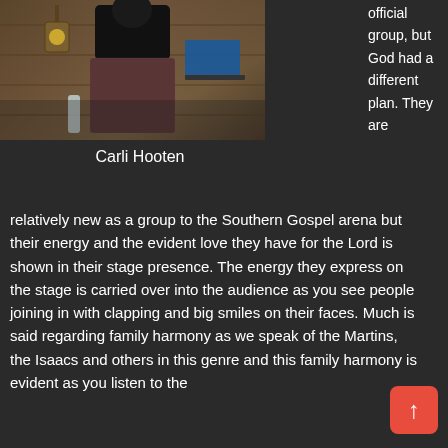[Figure (photo): Photo of Carli Hooten, a person standing in front of a wooden wall with a lantern, wearing a black top and patterned skirt, with a laptop visible in the background]
Carli Hooten
official group, but God had a different plan. They are
relatively new as a group to the Southern Gospel arena but their energy and the evident love they have for the Lord is shown in their stage presence. The energy they express on the stage is carried over into the audience as you see people joining in with clapping and big smiles on their faces. Much is said regarding family harmony as we speak of the Martins, the Isaacs and others in this genre and this family harmony is evident as you listen to the